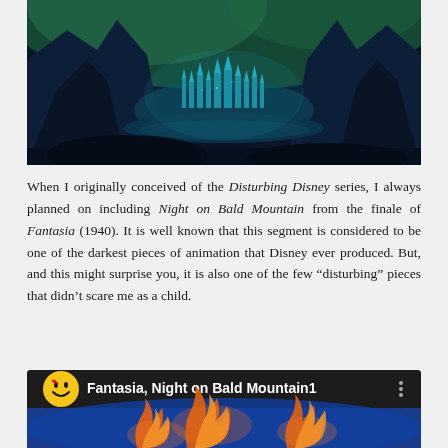[Figure (illustration): Dark fantasy artwork showing a glowing teal/turquoise castle city nestled between dark rocky mountains with green atmospheric lighting, in the style of Disney Fantasia concept art.]
When I originally conceived of the Disturbing Disney series, I always planned on including Night on Bald Mountain from the finale of Fantasia (1940). It is well known that this segment is considered to be one of the darkest pieces of animation that Disney ever produced. But, and this might surprise you, it is also one of the few “disturbing” pieces that didn’t scare me as a child.
[Figure (screenshot): YouTube video thumbnail/player showing 'Fantasia, Night on Bald Mountain1' with a smiley face icon as channel avatar, three-dot menu icon, and a blurred image of orange flame-like figures against a blue background.]